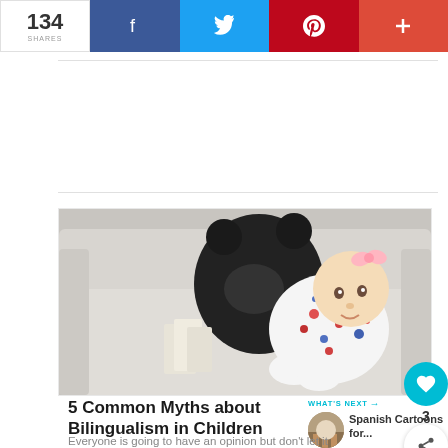134 SHARES | Facebook | Twitter | Pinterest | +
[Figure (photo): A baby in a floral onesie lying on a grey armchair next to a large black stuffed animal bear, with books nearby]
5 Common Myths about Bilingualism in Children
WHAT'S NEXT → Spanish Cartoons for...
Everyone is going to have an opinion but don't let it